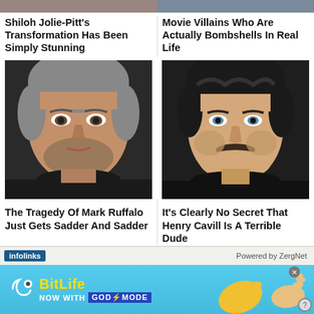[Figure (photo): Partially visible photo strip at top of page showing two images cropped]
Shiloh Jolie-Pitt's Transformation Has Been Simply Stunning
Movie Villains Who Are Actually Bombshells In Real Life
[Figure (photo): Headshot photo of Mark Ruffalo, middle-aged man with grey hair]
[Figure (photo): Headshot photo of Henry Cavill, dark-haired man with mustache]
The Tragedy Of Mark Ruffalo Just Gets Sadder And Sadder
It's Clearly No Secret That Henry Cavill Is A Terrible Dude
infolinks
Powered by ZergNet
[Figure (infographic): BitLife advertisement banner: NOW WITH GOD MODE, featuring yellow hand pointer graphics on light blue background]